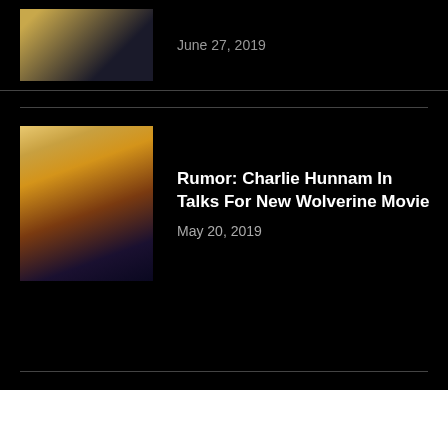June 27, 2019
Rumor: Charlie Hunnam In Talks For New Wolverine Movie
May 20, 2019
Scientists Are Actually Trying to Open a Portal to a Mirror Universe(Yes Really)
December 28, 2019
Related Posts